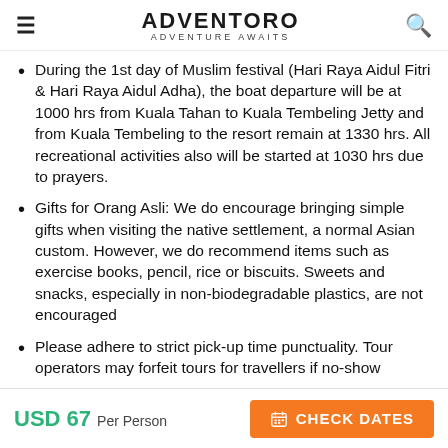ADVENTORO — ADVENTURE AWAITS
During the 1st day of Muslim festival (Hari Raya Aidul Fitri & Hari Raya Aidul Adha), the boat departure will be at 1000 hrs from Kuala Tahan to Kuala Tembeling Jetty and from Kuala Tembeling to the resort remain at 1330 hrs. All recreational activities also will be started at 1030 hrs due to prayers.
Gifts for Orang Asli: We do encourage bringing simple gifts when visiting the native settlement, a normal Asian custom. However, we do recommend items such as exercise books, pencil, rice or biscuits. Sweets and snacks, especially in non-biodegradable plastics, are not encouraged
Please adhere to strict pick-up time punctuality. Tour operators may forfeit tours for travellers if no-show
USD 67  Per Person   CHECK DATES